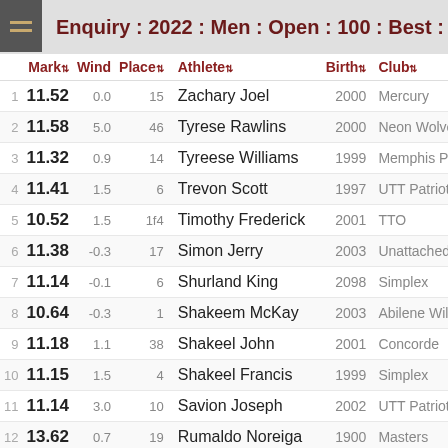Enquiry : 2022 : Men : Open : 100 : Best :
|  | Mark | Wind | Place | Athlete | Birth | Club |
| --- | --- | --- | --- | --- | --- | --- |
| 1 | 11.52 | 0.0 | 15 | Zachary Joel | 2000 | Mercury |
| 2 | 11.58 | 5.0 | 46 | Tyrese Rawlins | 2000 | Neon Wolve |
| 3 | 11.32 | 0.9 | 14 | Tyreese Williams | 1999 | Memphis Pic |
| 4 | 11.41 | 1.5 | 6 | Trevon Scott | 1997 | UTT Patriots |
| 5 | 10.52 | 1.5 | 1f4 | Timothy Frederick | 2001 | TTO |
| 6 | 11.38 | -0.3 | 17 | Simon Jerry | 2003 | Unattached |
| 7 | 11.14 | -0.1 | 6 | Shurland King | 2098 | Simplex |
| 8 | 10.64 | -0.3 | 1 | Shakeem McKay | 2003 | Abilene Wild |
| 9 | 11.18 | 1.1 | 38 | Shakeel John | 2001 | Concorde |
| 10 | 11.15 | 1.5 | 4 | Shakeel Francis | 1999 | Simplex |
| 11 | 11.14 | 3.0 | 10 | Savion Joseph | 2002 | UTT Patriots |
| 12 | 13.62 | 0.7 | 19 | Rumaldo Noreiga | 1900 | Masters |
| 13 | 11.37 | 0.9 | 16 | Rudolph Smith | 2002 | Burnley |
| 14 | 11.21 | 1.1 | 40 | Rondell Paul | 1989 | Masters |
| 15 | 11.80 | 0.0 | 50 | Rhyco Reinson | 2001 | Mount... |